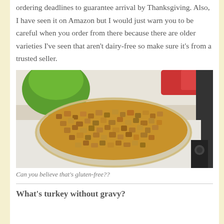ordering deadlines to guarantee arrival by Thanksgiving. Also, I have seen it on Amazon but I would just warn you to be careful when you order from there because there are older varieties I've seen that aren't dairy-free so make sure it's from a trusted seller.
[Figure (photo): A glass baking dish filled with golden-brown gluten-free stuffing/dressing, sitting on a stovetop. A green bowl and red item are visible in the background.]
Can you believe that's gluten-free??
What's turkey without gravy?